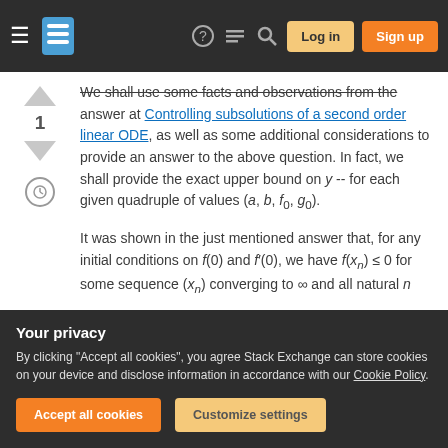Stack Exchange navigation bar with Log in and Sign up buttons
We shall use some facts and observations from the answer at Controlling subsolutions of a second order linear ODE, as well as some additional considerations to provide an answer to the above question. In fact, we shall provide the exact upper bound on y -- for each given quadruple of values (a, b, f_0, g_0).
It was shown in the just mentioned answer that, for any initial conditions on f(0) and f'(0), we have f(x_n) ≤ 0 for some sequence (x_n) converging to ∞ and all natural n
Your privacy
By clicking "Accept all cookies", you agree Stack Exchange can store cookies on your device and disclose information in accordance with our Cookie Policy.